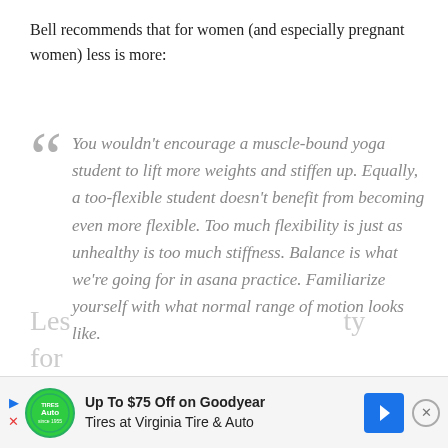Bell recommends that for women (and especially pregnant women) less is more:
You wouldn’t encourage a muscle-bound yoga student to lift more weights and stiffen up. Equally, a too-flexible student doesn’t benefit from becoming even more flexible. Too much flexibility is just as unhealthy is too much stiffness. Balance is what we’re going for in asana practice. Familiarize yourself with what normal range of motion looks like.
[Figure (screenshot): Advertisement bar at bottom: Up To $75 Off on Goodyear Tires at Virginia Tire & Auto, with Tires Auto logo, blue arrow icon, and close button]